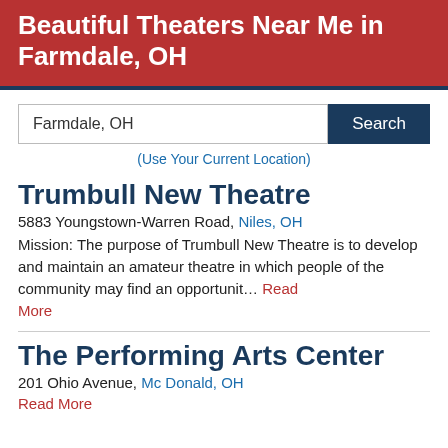Beautiful Theaters Near Me in Farmdale, OH
Farmdale, OH
Search
(Use Your Current Location)
Trumbull New Theatre
5883 Youngstown-Warren Road, Niles, OH
Mission: The purpose of Trumbull New Theatre is to develop and maintain an amateur theatre in which people of the community may find an opportunit… Read More
The Performing Arts Center
201 Ohio Avenue, Mc Donald, OH
Read More